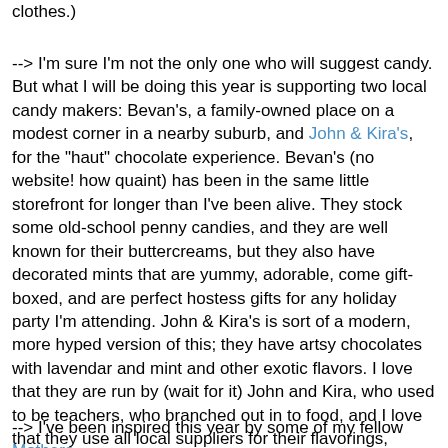clothes.)
--> I'm sure I'm not the only one who will suggest candy. But what I will be doing this year is supporting two local candy makers: Bevan's, a family-owned place on a modest corner in a nearby suburb, and John & Kira's, for the "haut" chocolate experience. Bevan's (no website! how quaint) has been in the same little storefront for longer than I've been alive. They stock some old-school penny candies, and they are well known for their buttercreams, but they also have decorated mints that are yummy, adorable, come gift-boxed, and are perfect hostess gifts for any holiday party I'm attending. John & Kira's is sort of a modern, more hyped version of this; they have artsy chocolates with lavendar and mint and other exotic flavors. I love that they are run by (wait for it) John and Kira, who used to be teachers, who branched out in to food, and I love that they use all local suppliers for their flavorings, including contracting with one of the agriculture programs at a city public high school to grow all their mint.
--> I've been inspired this year by some of my fellow Mothers